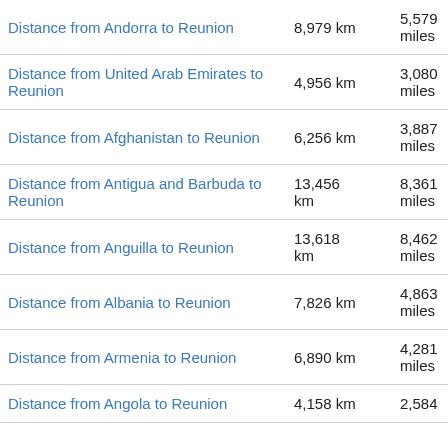| Route | km | miles |
| --- | --- | --- |
| Distance from Andorra to Reunion | 8,979 km | 5,579 miles |
| Distance from United Arab Emirates to Reunion | 4,956 km | 3,080 miles |
| Distance from Afghanistan to Reunion | 6,256 km | 3,887 miles |
| Distance from Antigua and Barbuda to Reunion | 13,456 km | 8,361 miles |
| Distance from Anguilla to Reunion | 13,618 km | 8,462 miles |
| Distance from Albania to Reunion | 7,826 km | 4,863 miles |
| Distance from Armenia to Reunion | 6,890 km | 4,281 miles |
| Distance from Angola to Reunion | 4,158 km | 2,584 miles |